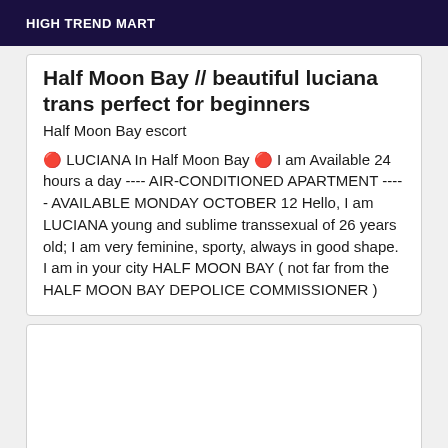HIGH TREND MART
Half Moon Bay // beautiful luciana trans perfect for beginners
Half Moon Bay escort
🔴 LUCIANA In Half Moon Bay 🔴 I am Available 24 hours a day ---- AIR-CONDITIONED APARTMENT ----- AVAILABLE MONDAY OCTOBER 12 Hello, I am LUCIANA young and sublime transsexual of 26 years old; I am very feminine, sporty, always in good shape. I am in your city HALF MOON BAY ( not far from the HALF MOON BAY DEPOLICE COMMISSIONER )